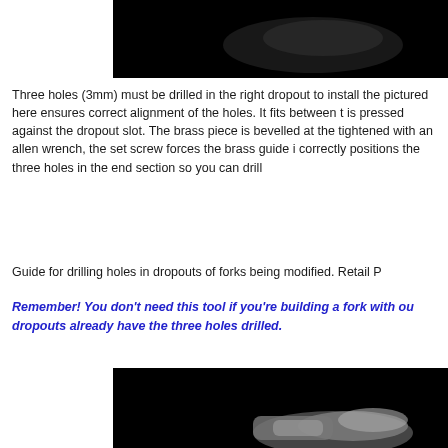[Figure (photo): Dark/black background photo at top of page, partially cropped, showing a tool or mechanical part]
Three holes (3mm) must be drilled in the right dropout to install the pictured here ensures correct alignment of the holes. It fits between t is pressed against the dropout slot. The brass piece is bevelled at the tightened with an allen wrench, the set screw forces the brass guide i correctly positions the three holes in the end section so you can drill
Guide for drilling holes in dropouts of forks being modified. Retail P
Remember! You don't need this tool if you're building a fork with ou dropouts already have the three holes drilled.
[Figure (photo): Photo on dark/black background showing a metallic drilling tool or bit, partially visible at bottom of page]